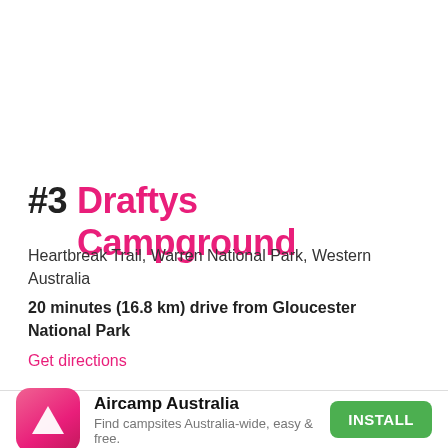#3 Draftys Campground
Heartbreak Trail, Warren National Park, Western Australia
20 minutes (16.8 km) drive from Gloucester National Park
Get directions
[Figure (logo): Aircamp Australia app icon with white triangle on pink/red gradient background]
Aircamp Australia
Find campsites Australia-wide, easy & free.
INSTALL